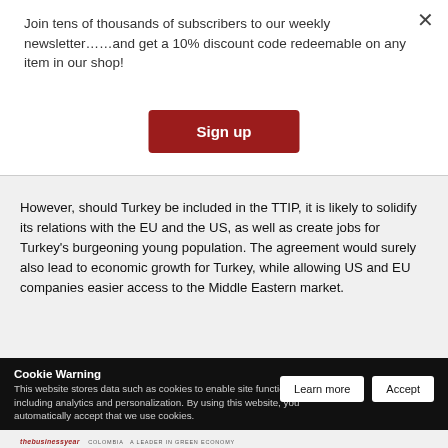Join tens of thousands of subscribers to our weekly newsletter……and get a 10% discount code redeemable on any item in our shop!
Sign up
However, should Turkey be included in the TTIP, it is likely to solidify its relations with the EU and the US, as well as create jobs for Turkey's burgeoning young population. The agreement would surely also lead to economic growth for Turkey, while allowing US and EU companies easier access to the Middle Eastern market.
Cookie Warning
This website stores data such as cookies to enable site functionality including analytics and personalization. By using this website, you automatically accept that we use cookies.
Learn more
Accept
thebusinessyear   COLOMBIA A LEADER IN GREEN ECONOMY